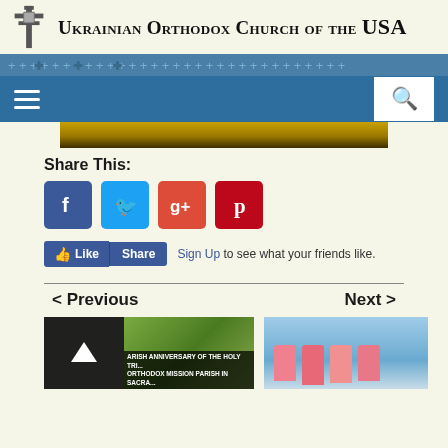Ukrainian Orthodox Church of the USA
[Figure (screenshot): Navigation bar with hamburger menu and search icon on blue background]
[Figure (photo): Hero image strip showing golden/dark colors]
Share This:
[Figure (infographic): Social sharing icons: Facebook, Twitter, Google+, Pinterest]
[Figure (infographic): Facebook Like and Share buttons with Sign Up link text: Sign Up to see what your friends like.]
< Previous
Next >
[Figure (photo): Previous article thumbnail: Parish Anniversary of the Holy Trinity Orthodox Mission Parish in Sacramento with back-to-top button overlay]
[Figure (photo): Next article thumbnail showing group of young people in pink shirts]